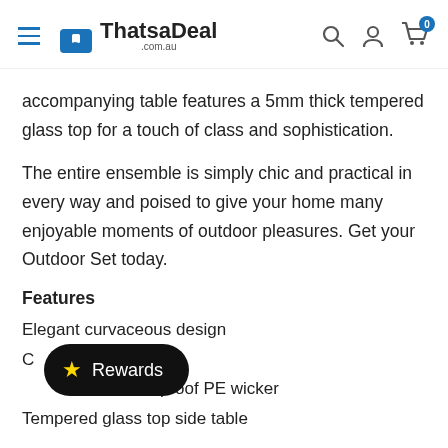ThatsaDeal .com.au
accompanying table features a 5mm thick tempered glass top for a touch of class and sophistication.
The entire ensemble is simply chic and practical in every way and poised to give your home many enjoyable moments of outdoor pleasures. Get your Outdoor Set today.
Features
Elegant curvaceous design
C... hic set
...atherproof PE wicker
Tempered glass top side table